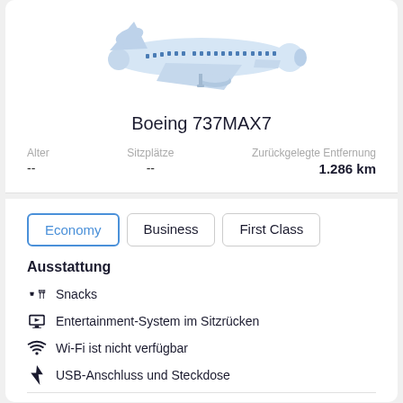[Figure (illustration): Illustration of a commercial airplane (Boeing 737MAX7) in light blue/white color scheme, side view facing right]
Boeing 737MAX7
| Alter | Sitzplätze | Zurückgelegte Entfernung |
| --- | --- | --- |
| -- | -- | 1.286 km |
Economy (active tab)
Business
First Class
Ausstattung
Snacks
Entertainment-System im Sitzrücken
Wi-Fi ist nicht verfügbar
USB-Anschluss und Steckdose